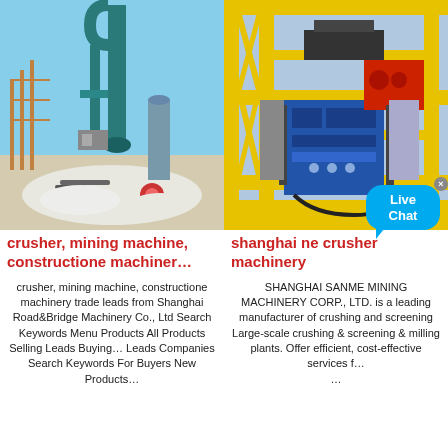[Figure (photo): Industrial crusher and mining machinery with tall teal-colored cyclone tower and processing equipment in an outdoor construction site setting with sandy/snowy ground]
[Figure (photo): Shanghai NE crusher machinery on yellow metal platform/gantry structure with blue and red mechanical components]
crusher, mining machine, constructione machiner…
shanghai ne crusher machinery
crusher, mining machine, constructione machinery trade leads from Shanghai Road&Bridge Machinery Co., Ltd Search Keywords Menu Products All Products Selling Leads Buying… Leads Companies Search Keywords For Buyers New Products…
SHANGHAI SANME MINING MACHINERY CORP., LTD. is a leading manufacturer of crushing and screening Large-scale crushing & screening & milling plants. Offer efficient, cost-effective services f… …